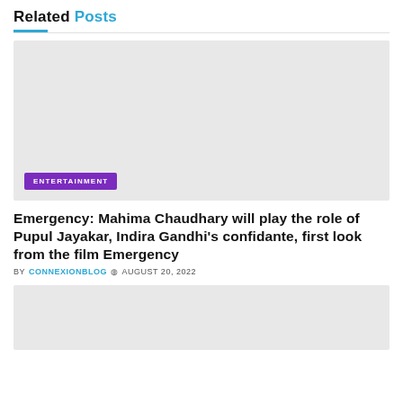Related Posts
[Figure (photo): Gray placeholder image for article thumbnail with ENTERTAINMENT badge overlay]
Emergency: Mahima Chaudhary will play the role of Pupul Jayakar, Indira Gandhi’s confidante, first look from the film Emergency
BY CONNEXIONBLOG © AUGUST 20, 2022
[Figure (photo): Gray placeholder image for second article thumbnail]